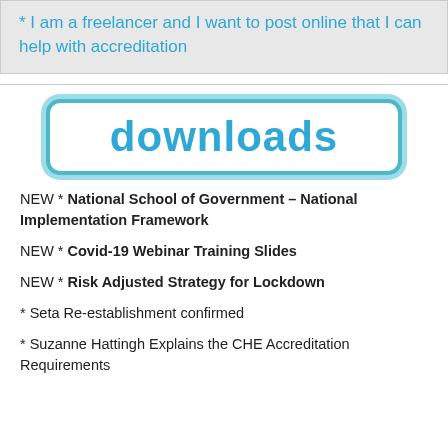* I am a freelancer and I want to post online that I can help with accreditation
[Figure (other): Downloads banner button with teal/cyan double border and bold blue 'downloads' text]
NEW * National School of Government – National Implementation Framework
NEW * Covid-19 Webinar Training Slides
NEW * Risk Adjusted Strategy for Lockdown
* Seta Re-establishment confirmed
* Suzanne Hattingh Explains the CHE Accreditation Requirements